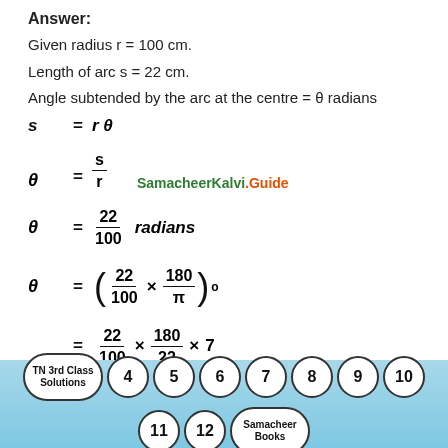Answer:
Given radius r = 100 cm.
Length of arc s = 22 cm.
Angle subtended by the arc at the centre = θ radians
[Figure (other): Footer navigation band with circular buttons: TN 3rd Class Solutions, 4, 5, 6, 7, 8, 9, 10, 11, 12, Samacheer Books]